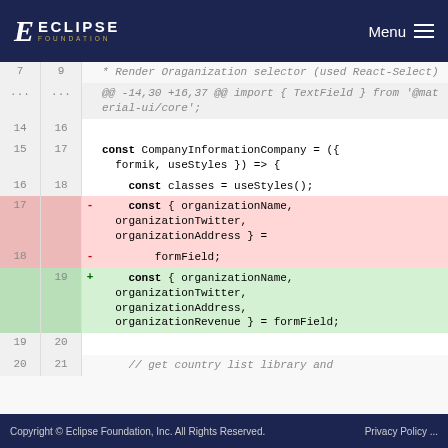ECLIPSE FOUNDATION | Menu
[Figure (screenshot): Code diff view showing git diff of a JavaScript/React file. Lines 7-20 shown with old and new line numbers, including removed lines (const destructuring without organizationRevenue) and added lines (const destructuring with organizationRevenue added). Context includes CompanyInformationCompany component, useStyles, TextField import, and a comment about getting country list library.]
Copyright © Eclipse Foundation, Inc. All Rights Reserved.    Privacy Policy ...